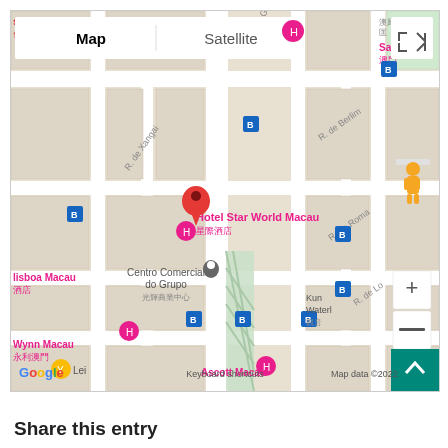[Figure (map): Google Maps screenshot showing Hotel Star World Macau location in Macau, with map/satellite toggle, zoom controls, pegman, and various nearby landmarks including Wynn Macau, Lisboa Macau, Ascott Macau, Sands, and Centro Comercial do Grupo. Map data ©2022.]
Share this entry